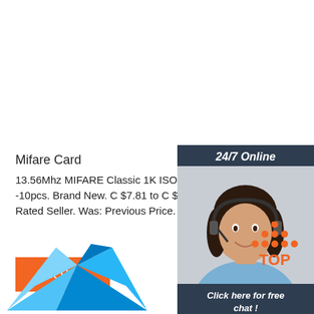Mifare Card
13.56Mhz MIFARE Classic 1K ISO14443A RFID Ac -10pcs. Brand New. C $7.81 to C $10.05. Top Rated Seller. Was: Previous Price. C $11.17 10% of
Get Price
[Figure (illustration): Chat widget with '24/7 Online' header, a customer service agent photo (woman with headset), 'Click here for free chat!' text, and an orange QUOTATION button]
[Figure (logo): TOP logo with orange dots forming a triangle above the word TOP in orange]
[Figure (logo): Blue origami bird / company logo at the bottom left]